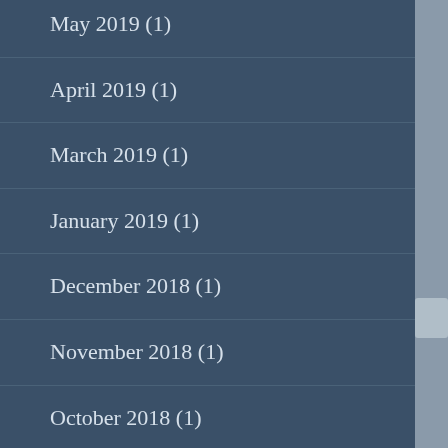May 2019 (1)
April 2019 (1)
March 2019 (1)
January 2019 (1)
December 2018 (1)
November 2018 (1)
October 2018 (1)
September 2018 (1)